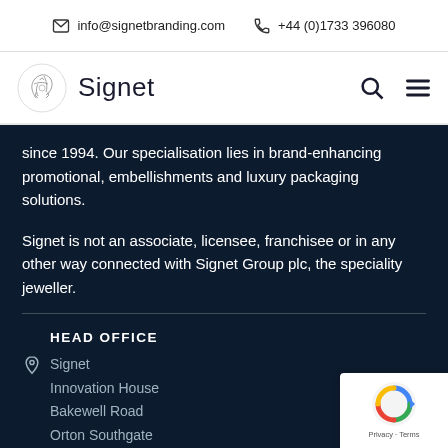info@signetbranding.com   +44 (0)1733 396080
[Figure (logo): Signet company logo with decorative emblem and wordmark 'Signet', plus search and hamburger menu icons]
since 1994. Our specialisation lies in brand-enhancing promotional, embellishments and luxury packaging solutions.
Signet is not an associate, licensee, franchisee or in any other way connected with Signet Group plc, the speciality jeweller.
HEAD OFFICE
Signet
Innovation House
Bakewell Road
Orton Southgate